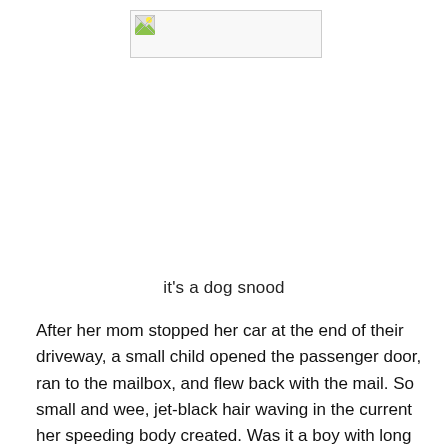[Figure (photo): Broken/placeholder image thumbnail in the upper center of the page]
it's a dog snood
After her mom stopped her car at the end of their driveway, a small child opened the passenger door, ran to the mailbox, and flew back with the mail. So small and wee, jet-black hair waving in the current her speeding body created. Was it a boy with long locks? I waved and